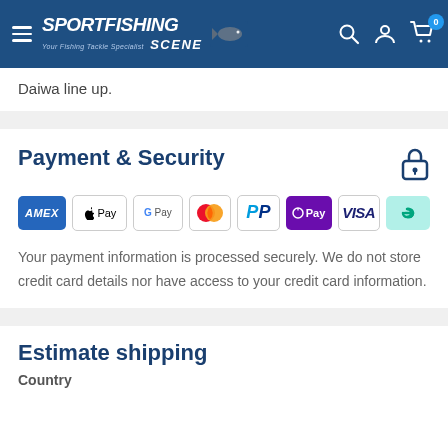SportFishing Scene — Your Fishing Tackle Specialist
Daiwa line up.
Payment & Security
[Figure (logo): Payment method icons: American Express, Apple Pay, Google Pay, Mastercard, PayPal, OPay, Visa, Afterpay]
Your payment information is processed securely. We do not store credit card details nor have access to your credit card information.
Estimate shipping
Country